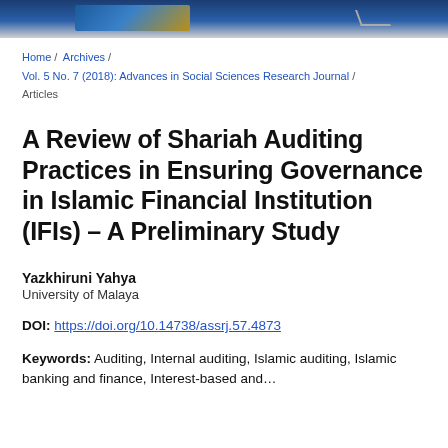[Journal header banner image]
Home / Archives / Vol. 5 No. 7 (2018): Advances in Social Sciences Research Journal / Articles
A Review of Shariah Auditing Practices in Ensuring Governance in Islamic Financial Institution (IFIs) – A Preliminary Study
Yazkhiruni Yahya
University of Malaya
DOI: https://doi.org/10.14738/assrj.57.4873
Keywords: Auditing, Internal auditing, Islamic auditing, Islamic banking and finance, Interest-based and...